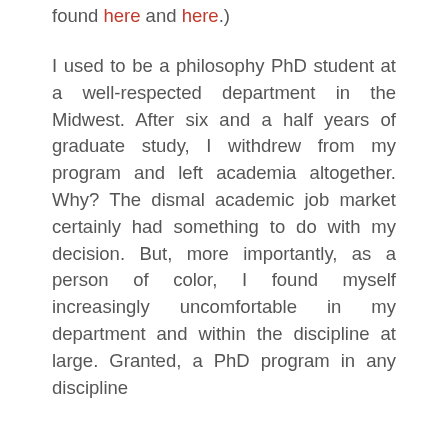found here and here.)
I used to be a philosophy PhD student at a well-respected department in the Midwest. After six and a half years of graduate study, I withdrew from my program and left academia altogether. Why? The dismal academic job market certainly had something to do with my decision. But, more importantly, as a person of color, I found myself increasingly uncomfortable in my department and within the discipline at large. Granted, a PhD program in any discipline